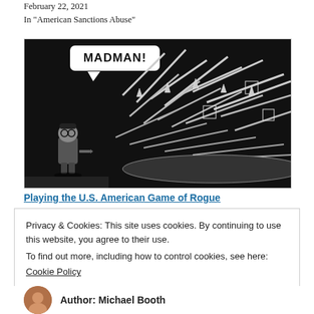February 22, 2021
In "American Sanctions Abuse"
[Figure (illustration): Black and white editorial cartoon showing a small figure (caricature with glasses and military uniform) holding a small weapon, with a speech bubble saying 'MADMAN!' above a massive pile of missiles, rockets, and weapons.]
Playing the U.S. American Game of Rogue
Privacy & Cookies: This site uses cookies. By continuing to use this website, you agree to their use.
To find out more, including how to control cookies, see here:
Cookie Policy
Close and accept
Author: Michael Booth